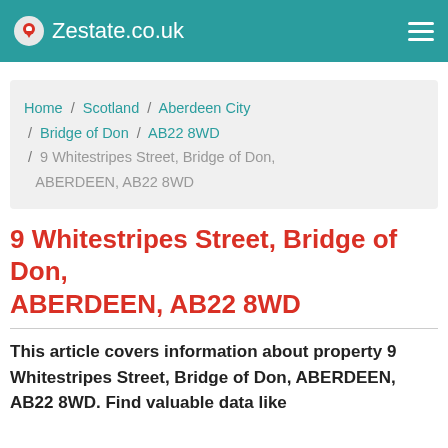Zestate.co.uk
Home / Scotland / Aberdeen City / Bridge of Don / AB22 8WD / 9 Whitestripes Street, Bridge of Don, ABERDEEN, AB22 8WD
9 Whitestripes Street, Bridge of Don, ABERDEEN, AB22 8WD
This article covers information about property 9 Whitestripes Street, Bridge of Don, ABERDEEN, AB22 8WD. Find valuable data like